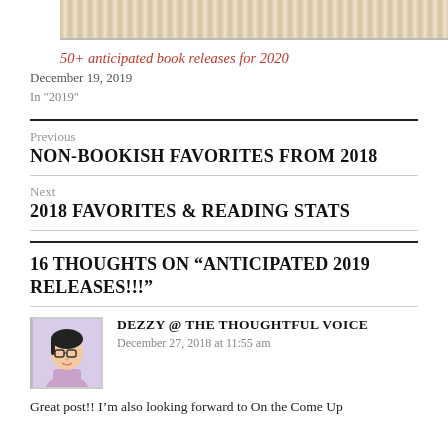[Figure (photo): Top of an open book, showing book spine and pages fanned out, cropped at top]
50+ anticipated book releases for 2020
December 19, 2019
In "2019"
Previous
NON-BOOKISH FAVORITES FROM 2018
Next
2018 FAVORITES & READING STATS
16 THOUGHTS ON “ANTICIPATED 2019 RELEASES!!!”
DEZZY @ THE THOUGHTFUL VOICE
December 27, 2018 at 11:55 am
Great post!! I’m also looking forward to On the Come Up